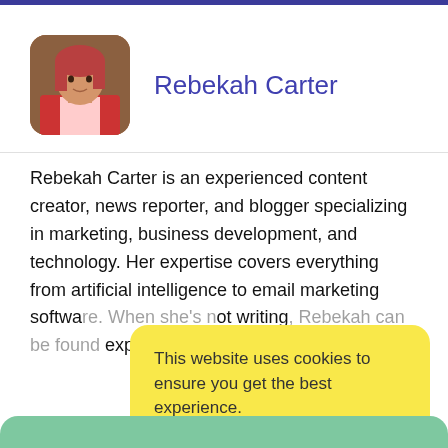[Figure (photo): Avatar photo of Rebekah Carter, a woman with reddish hair, shown in a rounded square frame]
Rebekah Carter
Rebekah Carter is an experienced content creator, news reporter, and blogger specializing in marketing, business development, and technology. Her expertise covers everything from artificial intelligence to email marketing softwa... not writing... explo...
This website uses cookies to ensure you get the best experience.